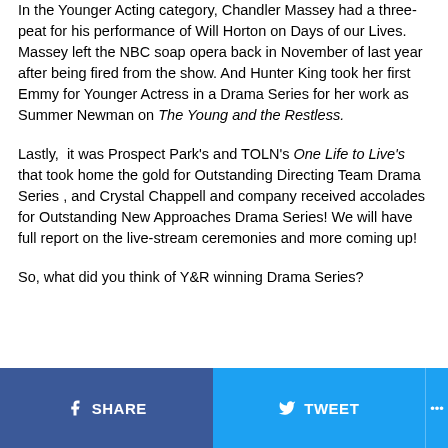In the Younger Acting category, Chandler Massey had a three-peat for his performance of Will Horton on Days of our Lives.  Massey left the NBC soap opera back in November of last year after being fired from the show. And Hunter King took her first Emmy for Younger Actress in a Drama Series for her work as Summer Newman on The Young and the Restless.
Lastly,  it was Prospect Park's and TOLN's One Life to Live's that took home the gold for Outstanding Directing Team Drama Series , and Crystal Chappell and company received accolades for Outstanding New Approaches Drama Series! We will have full report on the live-stream ceremonies and more coming up!
So, what did you think of Y&R winning Drama Series?
SHARE   TWEET   ...